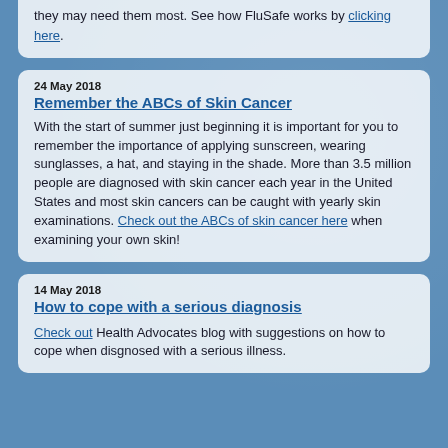they may need them most. See how FluSafe works by clicking here.
24 May 2018
Remember the ABCs of Skin Cancer
With the start of summer just beginning it is important for you to remember the importance of applying sunscreen, wearing sunglasses, a hat, and staying in the shade. More than 3.5 million people are diagnosed with skin cancer each year in the United States and most skin cancers can be caught with yearly skin examinations. Check out the ABCs of skin cancer here when examining your own skin!
14 May 2018
How to cope with a serious diagnosis
Check out Health Advocates blog with suggestions on how to cope when disgnosed with a serious illness.